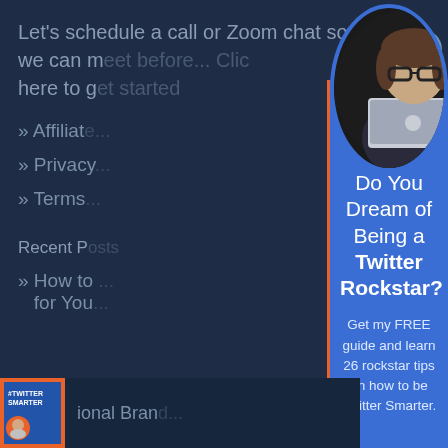Let's schedule a call or Zoom chat so we can m... Clic here to g...
» Affiliat...
» Privacy...
» Terms...
Recent P...
» How to... for You...
[Figure (screenshot): Modal popup overlay on a dark blue website background. The modal has a blue background (#3a6ed4) with an orange left border. At the top of the modal is a circular profile photo of a woman with glasses holding a MacBook laptop. There is an X close button in the upper right. The modal contains heading text 'Do You Dream of Being a Twitter Rockstar?' and body text 'Get my FREE guide and learn 26 rockstar tips on how to be Twitter Smarter.']
#TWITTER SMARTER - ional Bran...